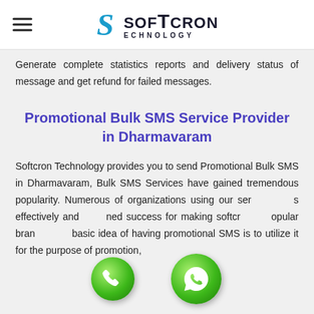SOFTCRON TECHNOLOGY
Generate complete statistics reports and delivery status of message and get refund for failed messages.
Promotional Bulk SMS Service Provider in Dharmavaram
Softcron Technology provides you to send Promotional Bulk SMS in Dharmavaram, Bulk SMS Services have gained tremendous popularity. Numerous of organizations using our services effectively and gained success for making softcron popular brand. The basic idea of having promotional SMS is to utilize it for the purpose of promotion,